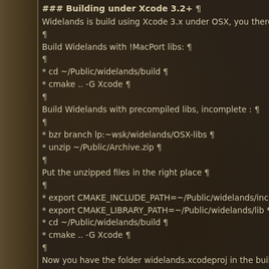### Building under Xcode 3.2+ ¶
Widelands is build using Xcode 3.x under OSX, you therefore nee
¶
Build Widelands with !MacPort libs: ¶
¶
* cd ~/Public/widelands/build ¶
* cmake .. -G Xcode ¶
¶
Build Widelands with precompiled libs, incomplete : ¶
¶
* bzr branch lp:~wsk/widelands/OSX-libs ¶
* unzip ~/Public/Archive.zip ¶
¶
Put the unzipped files in the right place ¶
¶
* export CMAKE_INCLUDE_PATH=~/Public/widelands/include ¶
* export CMAKE_LIBRARY_PATH=~/Public/widelands/lib ¶
* cd ~/Public/widelands/build ¶
* cmake .. -G Xcode ¶
¶
Now you have the folder widelands.xcodeproj in the build directo
¶
Help is available on the mailing list. ¶